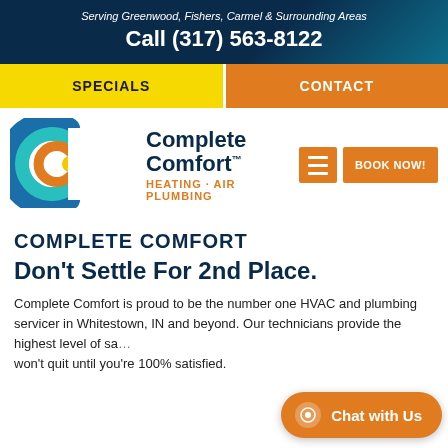Serving Greenwood, Fishers, Carmel & Surrounding Areas
Call (317) 563-8122
SPECIALS
CONTACT
[Figure (logo): Complete Comfort Heating Air Plumbing logo with stylized C icon in blue, teal, orange and yellow]
COMPLETE COMFORT
Don't Settle For 2nd Place.
Complete Comfort is proud to be the number one HVAC and plumbing servicer in Whitestown, IN and beyond. Our technicians provide the highest level of service and won't quit until you're 100% satisfied.